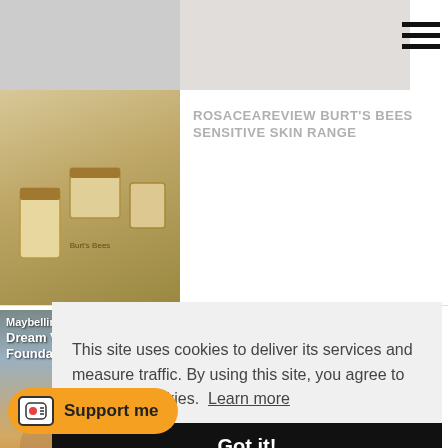[Figure (photo): Top gray strip with partial image thumbnail]
[Figure (photo): Hamburger menu icon (three horizontal lines)]
[Figure (photo): Burt's Bees skincare products on wooden surface]
ROSACEAREVIEW BURT'S BEES SENSITIVE SKIN RANGE
[Figure (photo): Maybelline Dream Velvet Foundation YouTube thumbnail with woman and overlay text '#RosaceaReview']
MAYBELLINE DREAM VELVET FOUNDATION #ROSACEAREVIEW
This site uses cookies to deliver its services and measure traffic. By using this site, you agree to its use of cookies.  Learn more
Got it!
Support me
FOLLOW ME